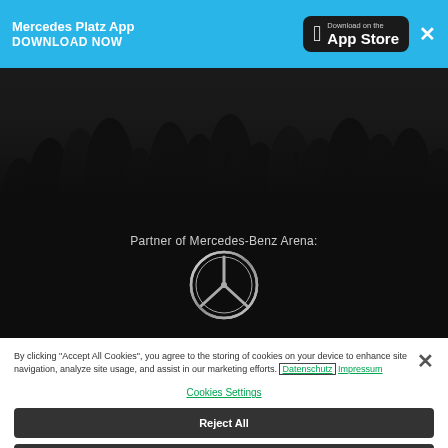Mercedes Platz App
DOWNLOAD NOW
[Figure (screenshot): App Store download button on dark background with Apple logo]
[Figure (photo): Dark crowd silhouette hero image with text 'Partner of Mercedes-Benz Arena:' and Mercedes-Benz star logo centered below]
By clicking "Accept All Cookies", you agree to the storing of cookies on your device to enhance site navigation, analyze site usage, and assist in our marketing efforts. Datenschutz Impressum
Cookies Settings
Reject All
Accept All Cookies